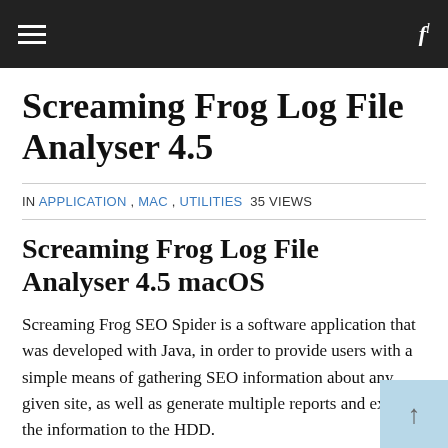≡  fl
Screaming Frog Log File Analyser 4.5
IN APPLICATION , MAC , UTILITIES  35 VIEWS
Screaming Frog Log File Analyser 4.5 macOS
Screaming Frog SEO Spider is a software application that was developed with Java, in order to provide users with a simple means of gathering SEO information about any given site, as well as generate multiple reports and export the information to the HDD.